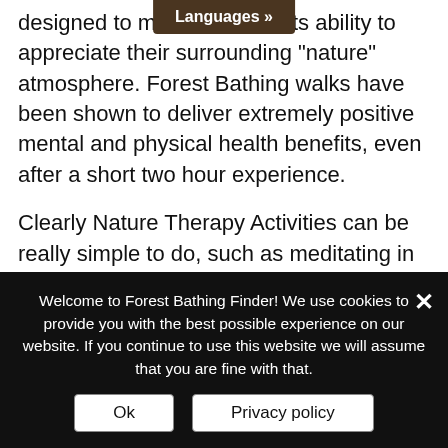designed to maximize their ability to appreciate their surrounding "nature" atmosphere. Forest Bathing walks have been shown to deliver extremely positive mental and physical health benefits, even after a short two hour experience.
Clearly Nature Therapy Activities can be really simple to do, such as meditating in a designated green space or in your backyard. Research shows that we can all to reap more benefits if we just change the location from an indoor activity, such as working out in the gym, and take the activity outdoors. Nature Therapy Activities can be a bit
Welcome to Forest Bathing Finder! We use cookies to provide you with the best possible experience on our website. If you continue to use this website we will assume that you are fine with that.